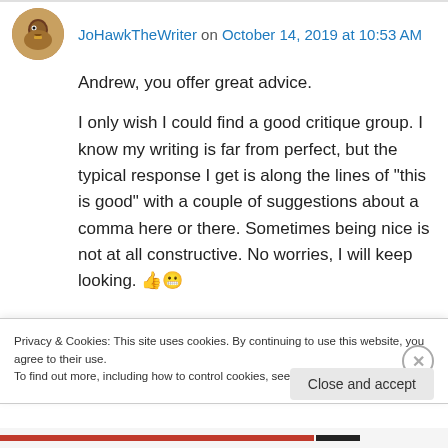[Figure (other): User avatar photo of a hawk/bird, circular crop]
JoHawkTheWriter on October 14, 2019 at 10:53 AM
Andrew, you offer great advice.
I only wish I could find a good critique group. I know my writing is far from perfect, but the typical response I get is along the lines of “this is good” with a couple of suggestions about a comma here or there. Sometimes being nice is not at all constructive. No worries, I will keep looking. 👍😬
Privacy & Cookies: This site uses cookies. By continuing to use this website, you agree to their use.
To find out more, including how to control cookies, see here: Cookie Policy
Close and accept